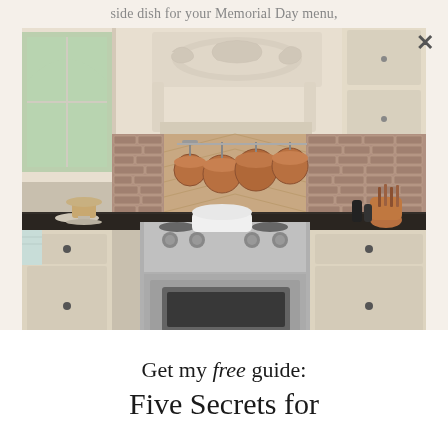side dish for your Memorial Day menu,
[Figure (photo): Elegant French country-style kitchen with cream/off-white painted cabinets featuring ornate molding details, a decorative carved range hood with scrollwork, brick herringbone backsplash, copper pots hanging from a rack, a professional stainless steel gas range, dark granite countertops, and a white Dutch oven on the stove. A window on the left shows greenery outside.]
Get my free guide:
Five Secrets for